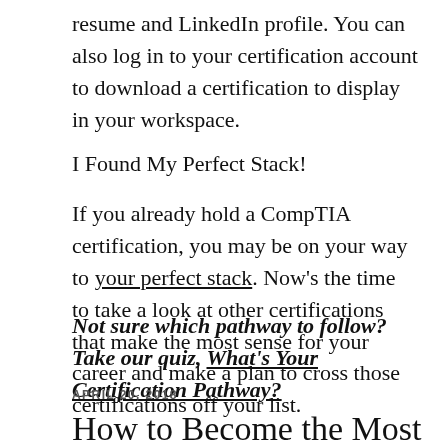resume and LinkedIn profile. You can also log in to your certification account to download a certification to display in your workspace.
I Found My Perfect Stack!
If you already hold a CompTIA certification, you may be on your way to your perfect stack. Now’s the time to take a look at other certifications that make the most sense for your career and make a plan to cross those certifications off your list.
Not sure which pathway to follow? Take our quiz, What’s Your Certification Pathway?
APRIL 20, 2018
How to Become the Most Valuable IT Pro